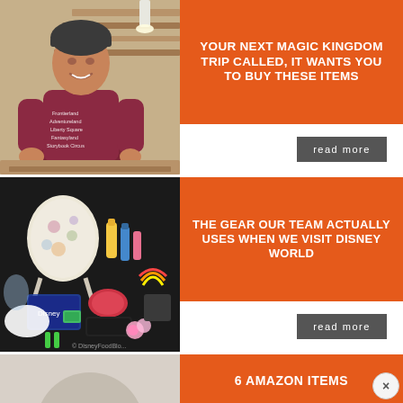[Figure (photo): Woman in a maroon Frontierland sweatshirt smiling in a woodworking workshop with lumber in the background]
YOUR NEXT MAGIC KINGDOM TRIP CALLED, IT WANTS YOU TO BUY THESE ITEMS
read more
[Figure (photo): Flat lay of various Disney World gear and accessories including a floral backpack, sunscreen, snacks, keychains, and other items on a dark surface]
THE GEAR OUR TEAM ACTUALLY USES WHEN WE VISIT DISNEY WORLD
read more
[Figure (photo): Partial view of a third article image (bottom, cropped)]
6 AMAZON ITEMS